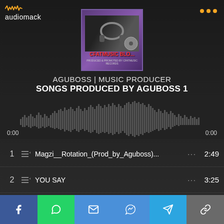[Figure (logo): Audiomack logo with waveform icon and text]
AGUBOSS | MUSIC PRODUCER
SONGS PRODUCED BY AGUBOSS 1
[Figure (other): Audiomack waveform player showing audio waveform bars with timestamps 0:00 on both sides]
1  Magzi__Rotation_(Prod_by_Aguboss)...  2:49
2  YOU SAY  3:25
3  SUPREME J Best Girl CFATMUSIC_Pro...  3:05
4  ADDICTED_TO_RAPPING_Dee_Legen...  3:38